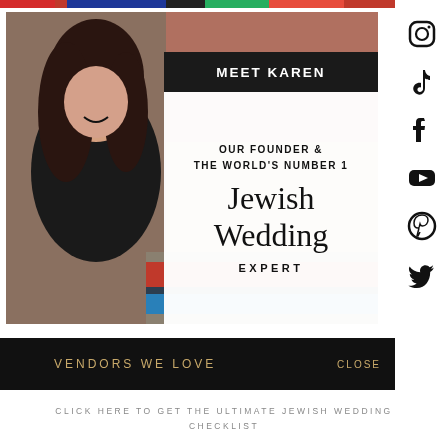[Figure (photo): Website screenshot showing Karen, founder of a Jewish Wedding planning site. Photo of a smiling woman with curly dark hair wearing a black top, overlaid with text boxes. Social media icons on the right side. Bottom bars show 'Vendors We Love' and a call to action for Jewish Wedding Checklist.]
MEET KAREN
OUR FOUNDER & THE WORLD'S NUMBER 1
Jewish Wedding
EXPERT
VENDORS WE LOVE
CLOSE
CLICK HERE TO GET THE ULTIMATE JEWISH WEDDING CHECKLIST